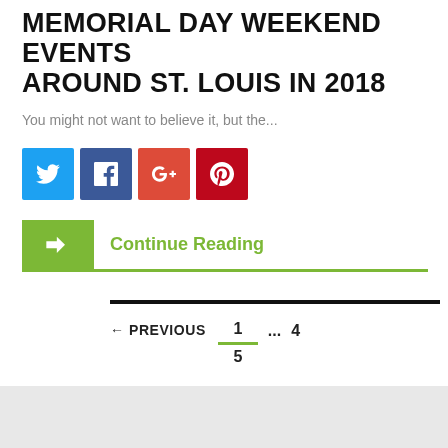MEMORIAL DAY WEEKEND EVENTS AROUND ST. LOUIS IN 2018
You might not want to believe it, but the...
[Figure (infographic): Social sharing buttons: Twitter (blue), Facebook (dark blue), Google+ (red), Pinterest (dark red)]
Continue Reading
← PREVIOUS   1   ...   4   5